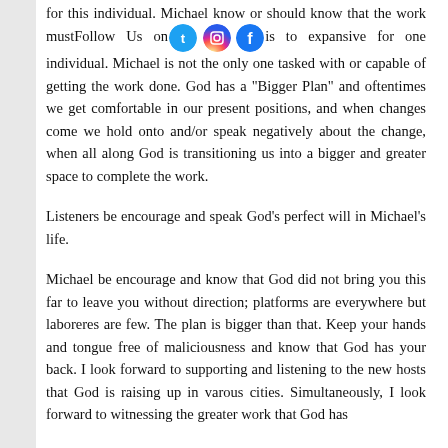for this individual. Michael know or should know that the work mustFollow Us on(social icons)is to expansive for one individual. Michael is not the only one tasked with or capable of getting the work done. God has a "Bigger Plan" and oftentimes we get comfortable in our present positions, and when changes come we hold onto and/or speak negatively about the change, when all along God is transitioning us into a bigger and greater space to complete the work.
Listeners be encourage and speak God's perfect will in Michael's life.
Michael be encourage and know that God did not bring you this far to leave you without direction; platforms are everywhere but laboreres are few. The plan is bigger than that. Keep your hands and tongue free of maliciousness and know that God has your back. I look forward to supporting and listening to the new hosts that God is raising up in varous cities. Simultaneously, I look forward to witnessing the greater work that God has